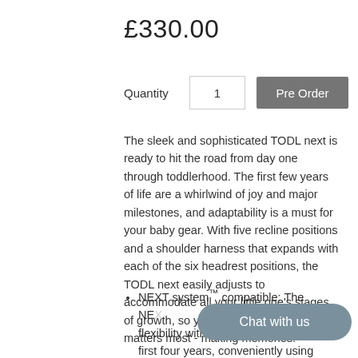£330.00
Quantity  1  Pre Order
The sleek and sophisticated TODL next is ready to hit the road from day one through toddlerhood. The first few years of life are a whirlwind of joy and major milestones, and adaptability is a must for your baby gear. With five recline positions and a shoulder harness that expands with each of the six headrest positions, the TODL next easily adjusts to accommodate all your little one's stages of growth, so you can focus on what matters most - making memories.
NEXT system™ compatible: The NEXT system offers ultimate flexibility with four solutions for the first four years, conveniently using one base for all compatible products.
Chat with us